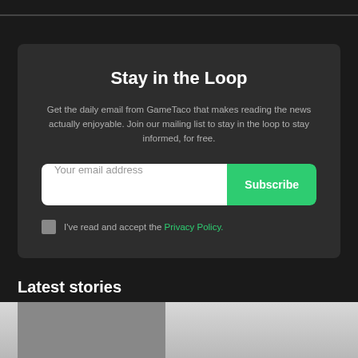Stay in the Loop
Get the daily email from GameTaco that makes reading the news actually enjoyable. Join our mailing list to stay in the loop to stay informed, for free.
Your email address [input] Subscribe [button]
I've read and accept the Privacy Policy.
Latest stories